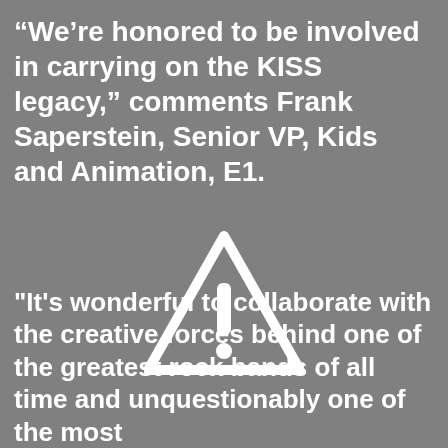“We’re honored to be involved in carrying on the KISS legacy,” comments Frank Saperstein, Senior VP, Kids and Animation, E1.
[Figure (other): Warning/caution triangle icon with exclamation mark, white outline on grey background, indicating a missing or unavailable image]
"It's wonderful to collaborate with the creative forces behind one of the greatest rock bands of all time and unquestionably one of the most